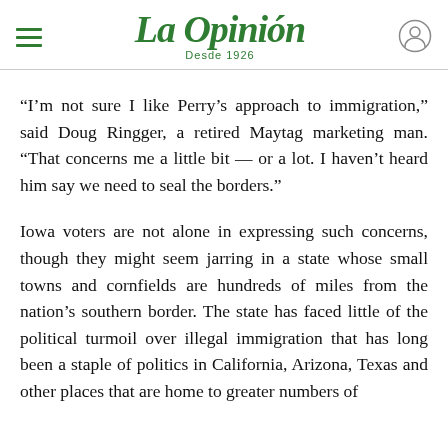La Opinión — Desde 1926
“I’m not sure I like Perry’s approach to immigration,” said Doug Ringger, a retired Maytag marketing man. “That concerns me a little bit — or a lot. I haven’t heard him say we need to seal the borders.”
Iowa voters are not alone in expressing such concerns, though they might seem jarring in a state whose small towns and cornfields are hundreds of miles from the nation’s southern border. The state has faced little of the political turmoil over illegal immigration that has long been a staple of politics in California, Arizona, Texas and other places that are home to greater numbers of